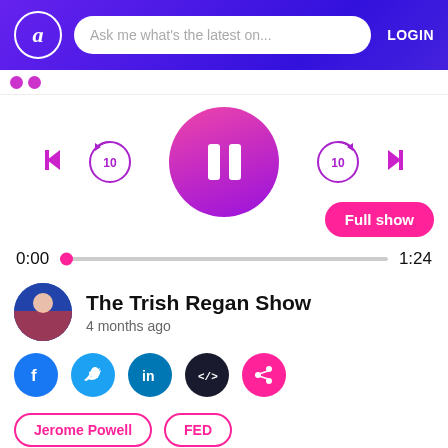[Figure (screenshot): App header with logo circle 'a', search bar 'Ask me what's the latest on...', and LOGIN text on purple gradient background]
Ask me what's the latest on...
LOGIN
[Figure (screenshot): Audio player controls: previous, rewind 10s, large pink/purple pause button, forward 10s, next. Full show button at right.]
Full show
0:00
1:24
The Trish Regan Show
4 months ago
[Figure (screenshot): Social share icons: Facebook, Twitter, LinkedIn, embed code, share]
Jerome Powell
FED